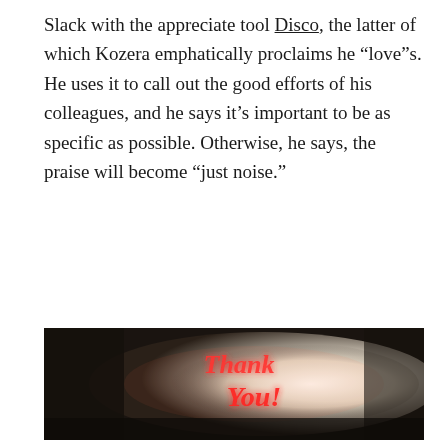Slack with the appreciate tool Disco, the latter of which Kozera emphatically proclaims he “love”s. He uses it to call out the good efforts of his colleagues, and he says it’s important to be as specific as possible. Otherwise, he says, the praise will become “just noise.”
[Figure (photo): A neon sign reading 'Thank You!' in red cursive lettering, mounted on a white curved surface against a dark, textured wall background.]